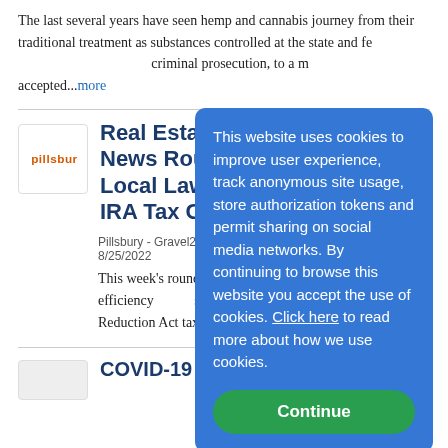The last several years have seen hemp and cannabis journey from their traditional treatment as substances controlled at the state and federal level, subjecting one to criminal prosecution, to a more widely accepted...more
Real Estate & Cannabis News Round-Up — Local Law 97, Ch... IRA Tax Credits
Pillsbury - Gravel2Gavel Co... 8/25/2022
This week's round-up featur... estate and energy efficiency... surrounding clean energy le... Reduction Act tax credits, h... creating...more
[Figure (logo): Pillsbury law firm logo with orange text on white background]
This website uses cookies to improve user experience, track anonymous site usage, store authorization tokens and permit sharing on social media networks. By continuing to browse this website you accept the use of cookies. Click here to read more about how we use cookies.
[Figure (screenshot): Partial article row with grey placeholder icon at bottom of page]